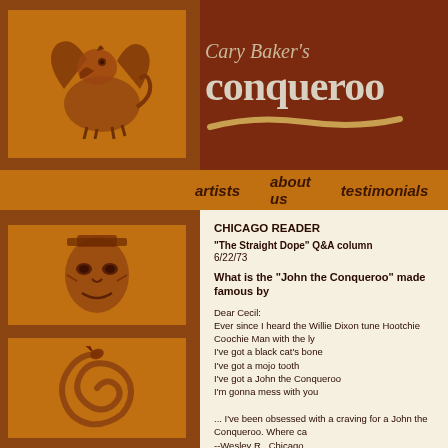Cary Baker's conqueroo
artists   about us   testimonials
[Figure (illustration): Griffin / winged lion illustrated icon in orange tones]
[Figure (illustration): Stylized tribal mask illustrated icon in orange tones]
[Figure (illustration): Spiral / snake illustrated icon in orange tones]
CHICAGO READER
"The Straight Dope" Q&A column
6/22/73
What is the "John the Conqueroo" made famous by
Dear Cecil:
Ever since I heard the Willie Dixon tune Hootchie Coochie Man with the ly
I've got a black cat's bone
I've got a mojo tooth
I've got a John the Conqueroo
I'm gonna mess with you

... I've been obsessed with a craving for a John the Conqueroo. Where ca
--Wesley R., Chicago
Dear Wesley:
A "John the Conqueroo," also known as a "High John de Conquer," is the
American black folklore, this root is used to cast or break evil spells – thu
songs.

Where do you get one? Look around – the St. John's-wort (Hypericum ma
other Hypericum species) is common to the Northern Hemisphere. Look f
flowers; there are usually five petals on each flower. Hypericum shrubs ge
stamens.